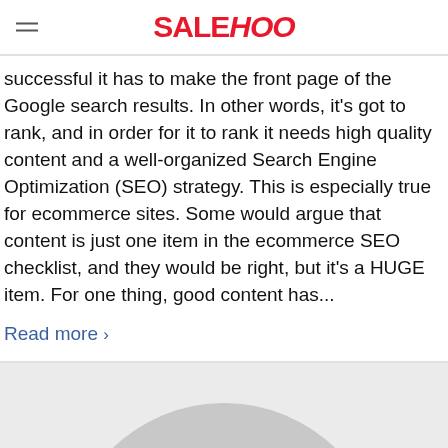SALEHOO
successful it has to make the front page of the Google search results. In other words, it's got to rank, and in order for it to rank it needs high quality content and a well-organized Search Engine Optimization (SEO) strategy. This is especially true for ecommerce sites. Some would argue that content is just one item in the ecommerce SEO checklist, and they would be right, but it's a HUGE item. For one thing, good content has...
Read more >
[Figure (illustration): Grey semi-circle shape at the bottom of a light grey area, suggesting a partially visible avatar or image placeholder]